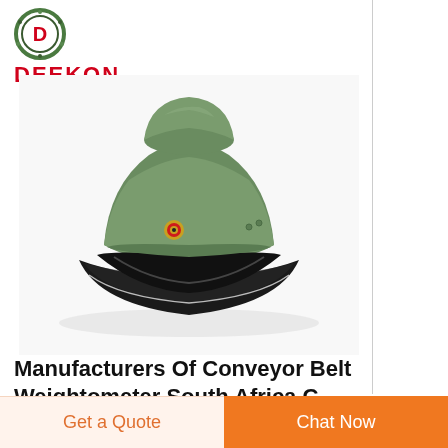[Figure (logo): DEEKON logo with circular emblem containing letter D and the brand name DEEKON in red bold text below]
[Figure (photo): Green military officer peaked cap with black shiny visor/brim and a small badge/cockade on the front, photographed on white background]
Manufacturers Of Conveyor Belt Weightometer South Africa C…
Get a Quote
Chat Now